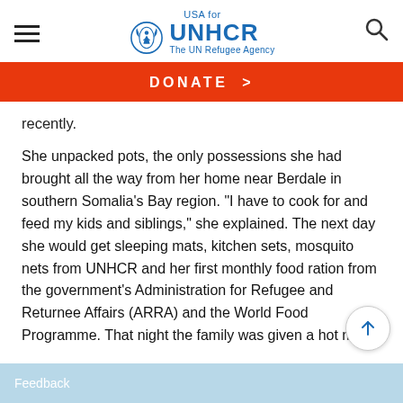USA for UNHCR The UN Refugee Agency
[Figure (logo): USA for UNHCR - The UN Refugee Agency logo with UNHCR emblem]
DONATE >
recently.
She unpacked pots, the only possessions she had brought all the way from her home near Berdale in southern Somalia's Bay region. "I have to cook for and feed my kids and siblings," she explained. The next day she would get sleeping mats, kitchen sets, mosquito nets from UNHCR and her first monthly food ration from the government's Administration for Refugee and Returnee Affairs (ARRA) and the World Food Programme. That night the family was given a hot meal.
Feedback